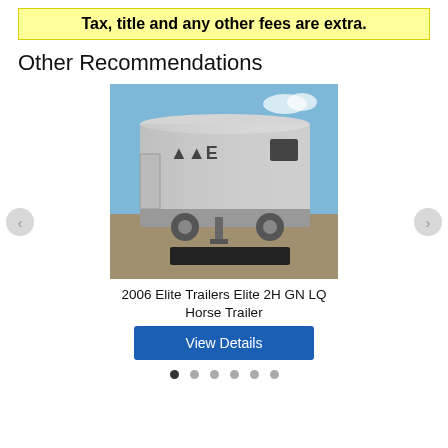Tax, title and any other fees are extra.
Other Recommendations
[Figure (photo): Photo of a 2006 Elite Trailers Elite 2H GN LQ Horse Trailer, silver/aluminum exterior, parked outdoors on gravel, blue sky background.]
2006 Elite Trailers Elite 2H GN LQ Horse Trailer
View Details